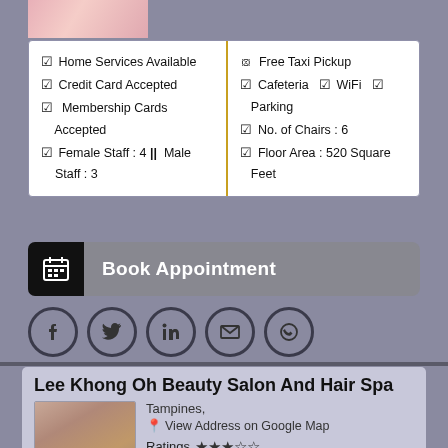[Figure (photo): Partial image of a woman with red nail polish at top of page]
✔ Home Services Available
✔ Credit Card Accepted
✔ Membership Cards Accepted
✔ Female Staff : 4 || Male Staff : 3
⊗ Free Taxi Pickup
✔ Cafeteria  ✔ WiFi  ✔ Parking
✔ No. of Chairs : 6
✔ Floor Area : 520 Square Feet
[Figure (infographic): Book Appointment button with calendar icon]
[Figure (infographic): Social media icons: Facebook, Twitter, LinkedIn, Email, WhatsApp]
Lee Khong Oh Beauty Salon And Hair Spa
[Figure (photo): Woman applying eye makeup with red nails]
Tampines,
📍 View Address on Google Map
Ratings ★★★☆☆
□ Add to Compare